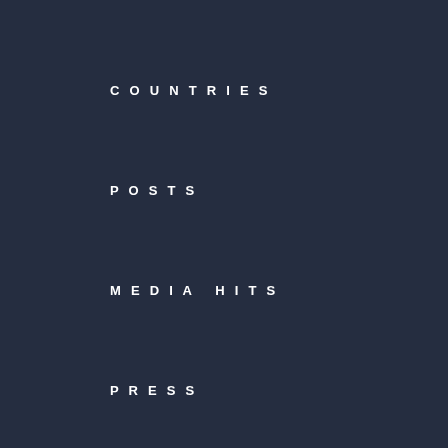COUNTRIES
POSTS
MEDIA HITS
PRESS
GET INVOLVED
VOLUNTEER
FOLLOW US
NEWSLETTER
CONTACT